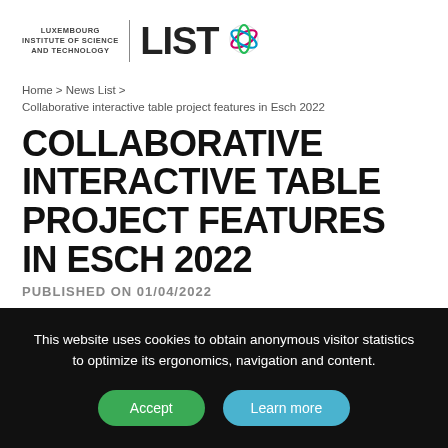[Figure (logo): Luxembourg Institute of Science and Technology LIST logo with globe graphic]
Home > News List >
Collaborative interactive table project features in Esch 2022
COLLABORATIVE INTERACTIVE TABLE PROJECT FEATURES IN ESCH 2022
PUBLISHED ON 01/04/2022
This website uses cookies to obtain anonymous visitor statistics to optimize its ergonomics, navigation and content.
Accept   Learn more